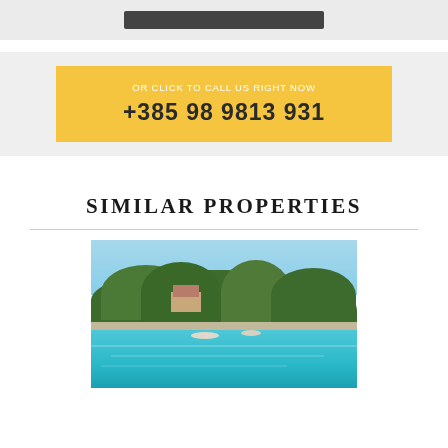[Figure (other): Top banner with dark button element on grey background]
OR CLICK TO CALL US RIGHT NOW
+385 98 9813 931
SIMILAR PROPERTIES
[Figure (photo): Coastal property with trees, houses, boats and turquoise water in foreground, blue sky background]